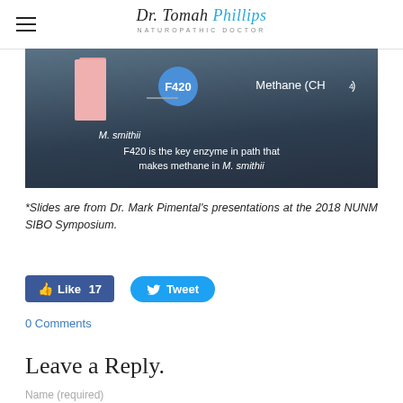Dr. Tomah Phillips — Naturopathic Doctor
[Figure (screenshot): Slide showing F420 enzyme and Methane (CH4) production in M. smithii with caption: 'F420 is the key enzyme in path that makes methane in M. smithii']
*Slides are from Dr. Mark Pimental's presentations at the 2018 NUNM SIBO Symposium.
Like 17   Tweet
0 Comments
Leave a Reply.
Name (required)